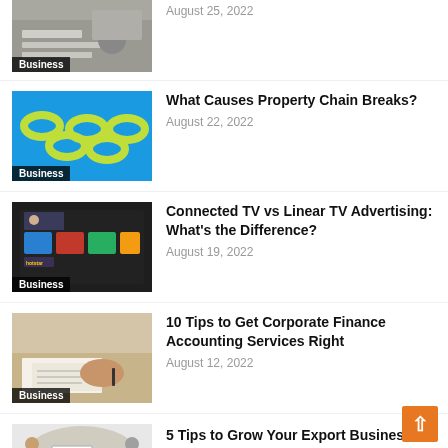[Figure (photo): Business people at desk with documents, partially cropped at top. Category label: Business]
August 25, 2022
[Figure (photo): Yellow chain links on blue background. Category label: Business]
What Causes Property Chain Breaks?
August 22, 2022
[Figure (photo): Smart TV screen showing streaming apps including Hotstar. Category label: Business]
Connected TV vs Linear TV Advertising: What's the Difference?
August 19, 2022
[Figure (photo): Person signing documents on a desk. Category label: Business]
10 Tips to Get Corporate Finance Accounting Services Right
August 12, 2022
[Figure (photo): Export business concept with people around a table, partially cropped. Category label: Business]
5 Tips to Grow Your Export Business and Broaden Your Customer Base